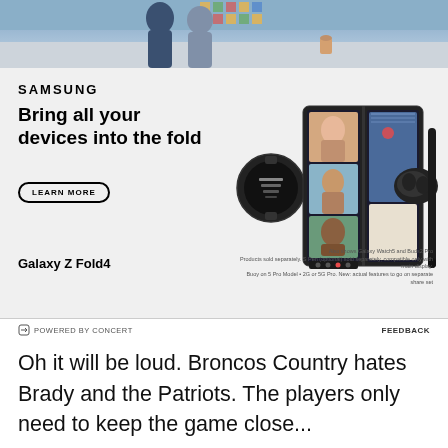[Figure (photo): Top portion of a Samsung advertisement showing people walking, used as header image]
[Figure (advertisement): Samsung Galaxy Z Fold4 advertisement on light gray background with headline 'Bring all your devices into the fold', a Learn More button, and product images showing the Galaxy Z Fold4 phone open with video call, Galaxy Watch5, Galaxy Buds2 Pro, and S Pen stylus]
Oh it will be loud. Broncos Country hates Brady and the Patriots. The players only need to keep the game close...